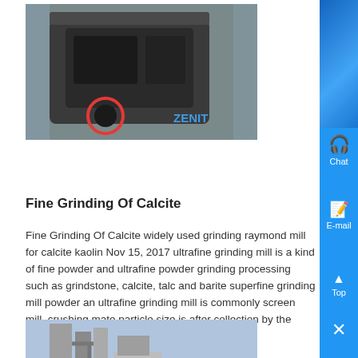[Figure (photo): Industrial grinding mill machine (dark metal, heavy equipment) with ZENIT logo and a red circular marking on a factory floor background.]
Fine Grinding Of Calcite
Fine Grinding Of Calcite widely used grinding raymond mill for calcite kaolin Nov 15, 2017 ultrafine grinding mill is a kind of fine powder and ultrafine powder grinding processing such as grindstone, calcite, talc and barite superfine grinding mill powder an ultrafine grinding mill is commonly screen mill, crushing material particle size is after collection by the powder discharge mouth ...
Know More
[Figure (photo): Industrial grinding/milling plant equipment with silos, pipes, and machinery visible outdoors.]